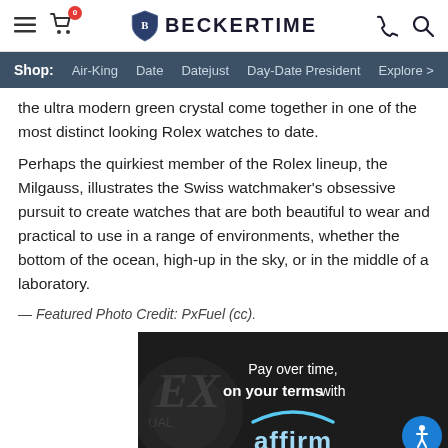BECKERTIME — navigation header with shop menu: Air-King, Date, Datejust, Day-Date President, Explore
the ultra modern green crystal come together in one of the most distinct looking Rolex watches to date.
Perhaps the quirkiest member of the Rolex lineup, the Milgauss, illustrates the Swiss watchmaker's obsessive pursuit to create watches that are both beautiful to wear and practical to use in a range of environments, whether the bottom of the ocean, high-up in the sky, or in the middle of a laboratory.
— Featured Photo Credit: PxFuel (cc).
[Figure (infographic): Advertisement banner for Affirm payment service showing 'Pay over time, on your terms with affirm' text on dark background with watch imagery]